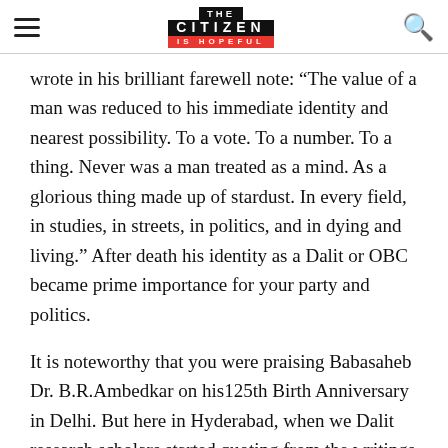THE CITIZEN IS HOPEFUL
wrote in his brilliant farewell note: “The value of a man was reduced to his immediate identity and nearest possibility. To a vote. To a number. To a thing. Never was a man treated as a mind. As a glorious thing made up of stardust. In every field, in studies, in streets, in politics, and in dying and living.” After death his identity as a Dalit or OBC became prime importance for your party and politics.
It is noteworthy that you were praising Babasaheb Dr. B.R.Ambedkar on his125th Birth Anniversary in Delhi. But here in Hyderabad, when we Dalit research scholars started quoting from the writings of Babasaheb Dr.